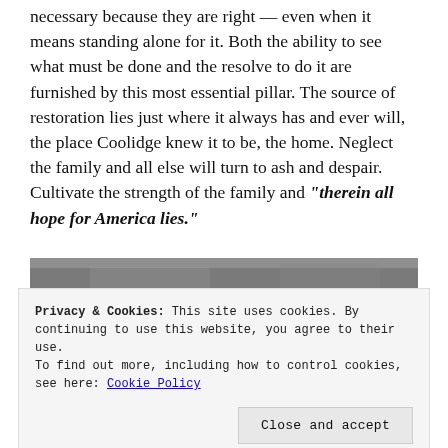necessary because they are right — even when it means standing alone for it. Both the ability to see what must be done and the resolve to do it are furnished by this most essential pillar. The source of restoration lies just where it always has and ever will, the place Coolidge knew it to be, the home. Neglect the family and all else will turn to ash and despair. Cultivate the strength of the family and "therein all hope for America lies."
[Figure (photo): Black and white photograph, partially visible at top and bottom of page, obscured by cookie consent banner]
Privacy & Cookies: This site uses cookies. By continuing to use this website, you agree to their use.
To find out more, including how to control cookies, see here: Cookie Policy
Close and accept